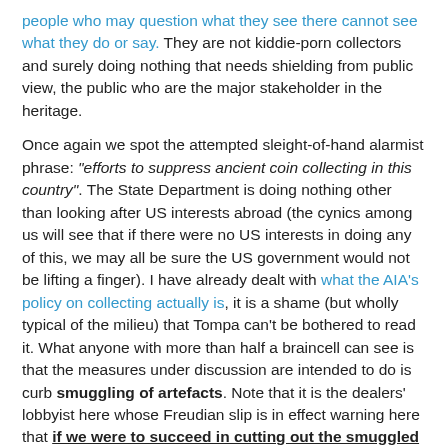people who may question what they see there cannot see what they do or say. They are not kiddie-porn collectors and surely doing nothing that needs shielding from public view, the public who are the major stakeholder in the heritage.
Once again we spot the attempted sleight-of-hand alarmist phrase: "efforts to suppress ancient coin collecting in this country". The State Department is doing nothing other than looking after US interests abroad (the cynics among us will see that if there were no US interests in doing any of this, we may all be sure the US government would not be lifting a finger). I have already dealt with what the AIA's policy on collecting actually is, it is a shame (but wholly typical of the milieu) that Tompa can't be bothered to read it. What anyone with more than half a braincell can see is that the measures under discussion are intended to do is curb smuggling of artefacts. Note that it is the dealers' lobbyist here whose Freudian slip is in effect warning here that if we were to succeed in cutting out the smuggled artefacts, the US antiquities market - one of the biggest in the world - would collapse. He said it, not me.